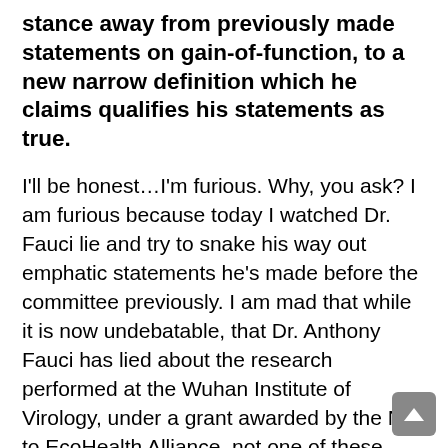stance away from previously made statements on gain-of-function, to a new narrow definition which he claims qualifies his statements as true.
I'll be honest…I'm furious. Why, you ask? I am furious because today I watched Dr. Fauci lie and try to snake his way out emphatic statements he's made before the committee previously. I am mad that while it is now undebatable, that Dr. Anthony Fauci has lied about the research performed at the Wuhan Institute of Virology, under a grant awarded by the NIH to EcoHealth Alliance, not one of these Senators…. not one….. called for Fauci's resignation besides Rand Paul.
In the eight-and-a-half minute exchange, Senator Paul